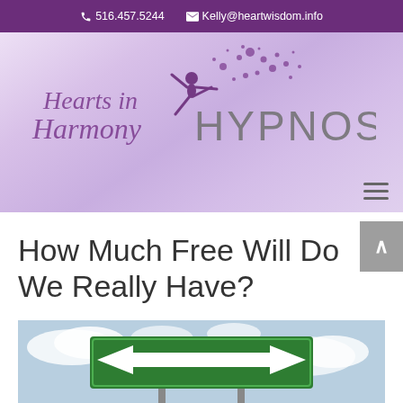📞 516.457.5244   ✉ Kelly@heartwisdom.info
[Figure (logo): Hearts in Harmony Hypnosis logo with script text, dancing fairy silhouette, floral flourishes, and large HYPNOSIS text]
How Much Free Will Do We Really Have?
[Figure (photo): Green road sign with white double-headed arrow pointing left and right, set against a partly cloudy sky]